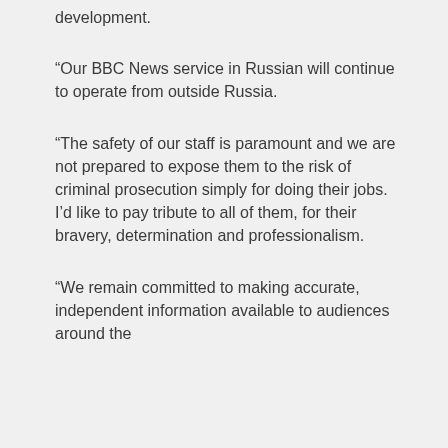development.
“Our BBC News service in Russian will continue to operate from outside Russia.
“The safety of our staff is paramount and we are not prepared to expose them to the risk of criminal prosecution simply for doing their jobs. I’d like to pay tribute to all of them, for their bravery, determination and professionalism.
“We remain committed to making accurate, independent information available to audiences around the